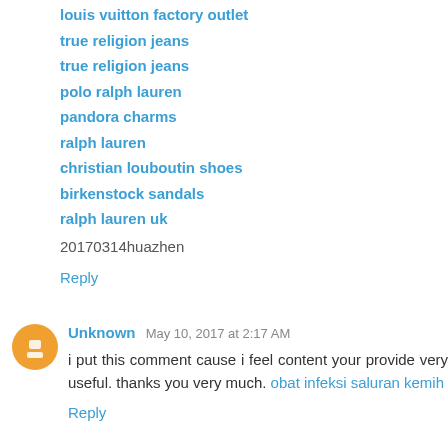louis vuitton factory outlet
true religion jeans
true religion jeans
polo ralph lauren
pandora charms
ralph lauren
christian louboutin shoes
birkenstock sandals
ralph lauren uk
20170314huazhen
Reply
Unknown  May 10, 2017 at 2:17 AM
i put this comment cause i feel content your provide very useful. thanks you very much. obat infeksi saluran kemih
Reply
John  June 2, 2017 at 5:19 AM
clarks shoes for women